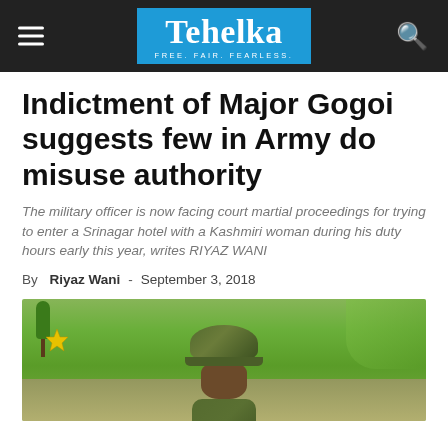Tehelka – FREE. FAIR. FEARLESS.
Indictment of Major Gogoi suggests few in Army do misuse authority
The military officer is now facing court martial proceedings for trying to enter a Srinagar hotel with a Kashmiri woman during his duty hours early this year, writes RIYAZ WANI
By Riyaz Wani - September 3, 2018
[Figure (photo): Photo of a person in military camouflage uniform and helmet, standing outdoors with green grass and trees in the background]